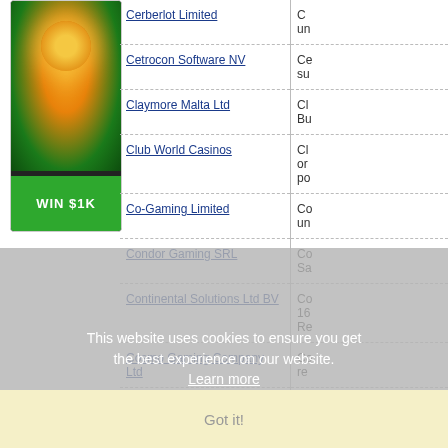[Figure (illustration): Casino/gambling banner image with glowing face and 'WIN $1K' green button]
Cerberlot Limited
Cetrocon Software NV
Claymore Malta Ltd
Club World Casinos
Co-Gaming Limited
Condor Gaming SRL
Continental Solutions Ltd BV
Cosmo Gaming Company Ltd
Counder BV
CW Marketing BV
This website uses cookies to ensure you get the best experience on our website.
Learn more
Got it!